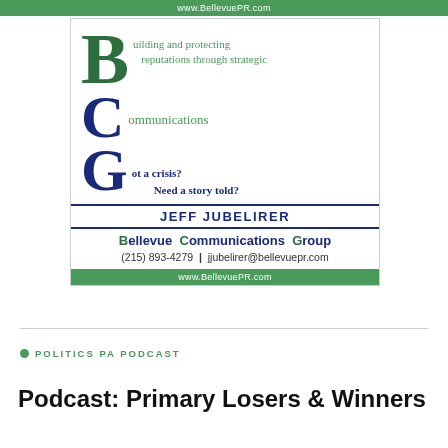www.BellevuePR.com
[Figure (logo): Bellevue Communications Group advertisement featuring large stylized B, C, G letters with taglines: 'Building and protecting reputations through strategic Communications Got a crisis? Need a story told?' and contact info for Jeff Jubelirer, (215) 893-4279, jjubelirer@bellevuepr.com, www.BellevuePR.com]
POLITICS PA PODCAST
Podcast: Primary Losers & Winners